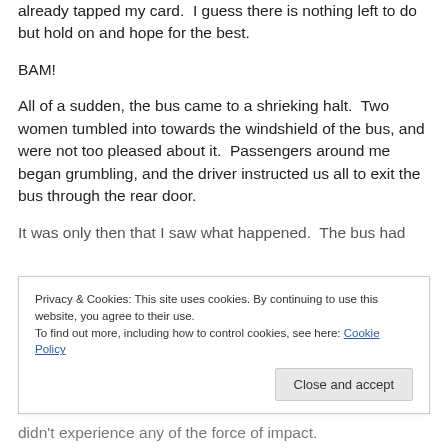already tapped my card.  I guess there is nothing left to do but hold on and hope for the best.
BAM!
All of a sudden, the bus came to a shrieking halt.  Two women tumbled into towards the windshield of the bus, and were not too pleased about it.  Passengers around me began grumbling, and the driver instructed us all to exit the bus through the rear door.
It was only then that I saw what happened.  The bus had
Privacy & Cookies: This site uses cookies. By continuing to use this website, you agree to their use.
To find out more, including how to control cookies, see here: Cookie Policy
didn't experience any of the force of impact.